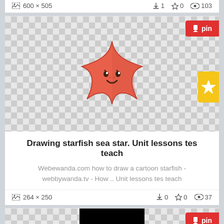600 × 505   ⬇1  ☆0  👁103
[Figure (illustration): Cartoon smiling starfish/sea star illustration in orange-red color on a checkered transparent background, with a red 'pin' button top right and a yellow star button on the right side.]
Drawing starfish sea star. Unit lessons tes teach
Webewanda.com how to draw a cartoon starfish - webbywanda.tv - How .. Unit lessons tes teach
264 × 250   ⬇0  ☆0  👁37
[Figure (photo): Partial view of another image card at the bottom with a black rectangle in the center on checkered background, with a red 'pin' button.]